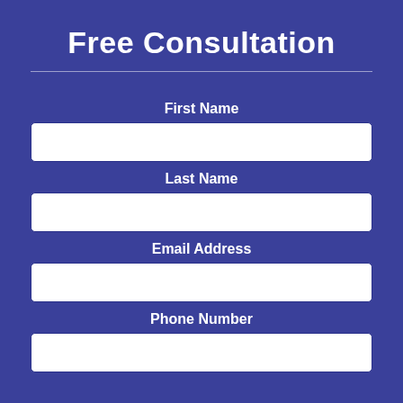Free Consultation
First Name
Last Name
Email Address
Phone Number